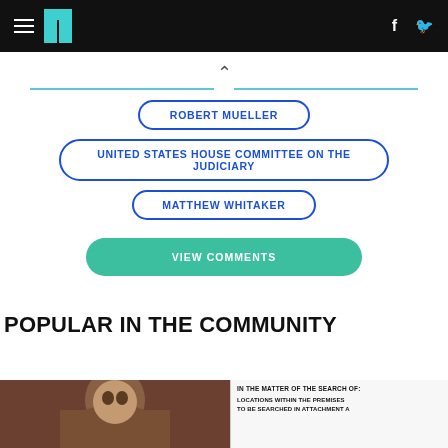HuffPost navigation header with hamburger menu, logo, Facebook and Twitter icons
ROBERT MUELLER
UNITED STATES HOUSE COMMITTEE ON THE JUDICIARY
MATTHEW WHITAKER
VIEW COMMENTS
POPULAR IN THE COMMUNITY
[Figure (photo): Photo thumbnail of a person (partially visible head and shoulders)]
[Figure (screenshot): Document thumbnail showing legal text: IN THE MATTER OF THE SEARCH OF: LOCATIONS WITHIN THE PREMISES TO BE SEARCHED IN ATTACHMENT A]